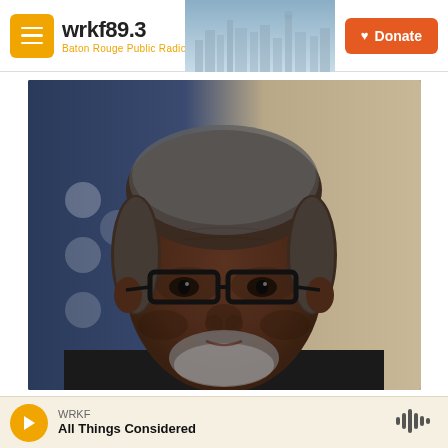wrkf89.3 Baton Rouge Public Radio — Donate
[Figure (photo): Close-up portrait of Elbert Guillory, an older Black man with gray natural hair and a salt-and-pepper beard, wearing dark-rimmed rectangular glasses, a dark jacket and white shirt, with an American flag visible in the background.]
Elbert Guillory and Melissa Flournoy on politics and health
WRKF — All Things Considered